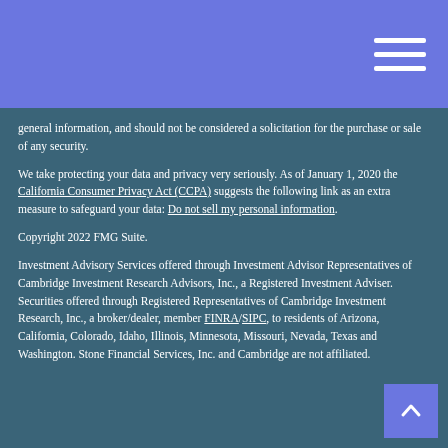general information, and should not be considered a solicitation for the purchase or sale of any security.
We take protecting your data and privacy very seriously. As of January 1, 2020 the California Consumer Privacy Act (CCPA) suggests the following link as an extra measure to safeguard your data: Do not sell my personal information.
Copyright 2022 FMG Suite.
Investment Advisory Services offered through Investment Advisor Representatives of Cambridge Investment Research Advisors, Inc., a Registered Investment Adviser. Securities offered through Registered Representatives of Cambridge Investment Research, Inc., a broker/dealer, member FINRA/SIPC, to residents of Arizona, California, Colorado, Idaho, Illinois, Minnesota, Missouri, Nevada, Texas and Washington. Stone Financial Services, Inc. and Cambridge are not affiliated.